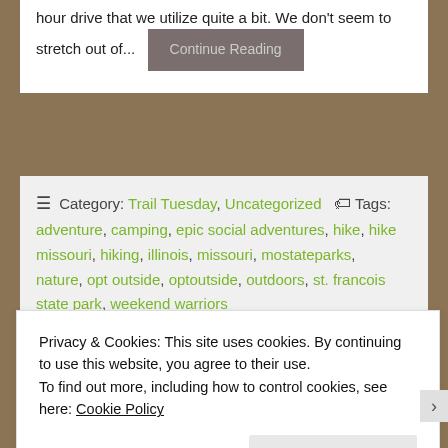hour drive that we utilize quite a bit. We don't seem to stretch out of...
Continue Reading
☰ Category: Trail Tuesday, Uncategorized 🏷 Tags: adventure, camping, epic social adventures, hike, hike missouri, hiking, illinois, missouri, mostateparks, nature, opt outside, optoutside, outdoors, st. francois state park, weekend warriors
Privacy & Cookies: This site uses cookies. By continuing to use this website, you agree to their use.
To find out more, including how to control cookies, see here: Cookie Policy
Close and accept